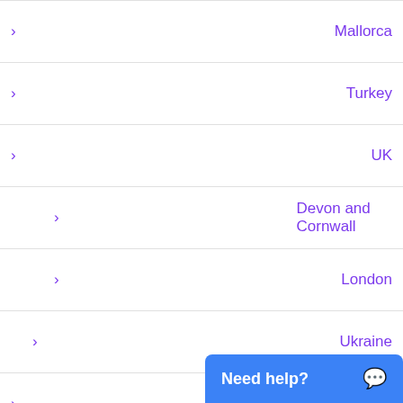Mallorca
Turkey
UK
Devon and Cornwall
London
Ukraine
House-Sitting with Horses
HouseSit Match
Ireland
moving home
Pet Professionals
Pet Sitting